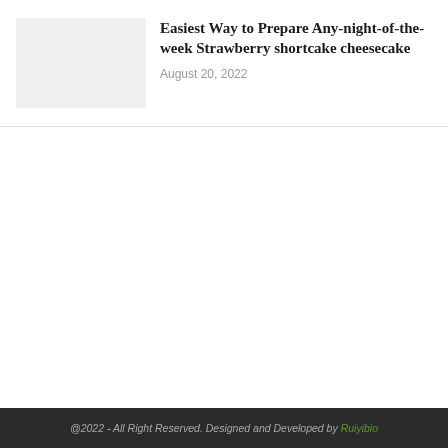[Figure (photo): Thumbnail placeholder image with light gray background]
Easiest Way to Prepare Any-night-of-the-week Strawberry shortcake cheesecake
August 20, 2022
@2022 - All Right Reserved. Designed and Developed by Ruiyibio